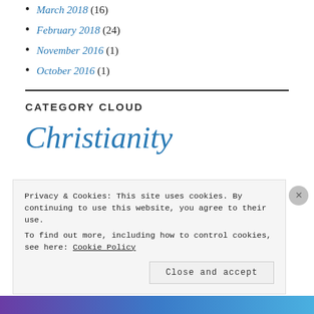March 2018 (16)
February 2018 (24)
November 2016 (1)
October 2016 (1)
CATEGORY CLOUD
Christianity
Privacy & Cookies: This site uses cookies. By continuing to use this website, you agree to their use. To find out more, including how to control cookies, see here: Cookie Policy
Close and accept